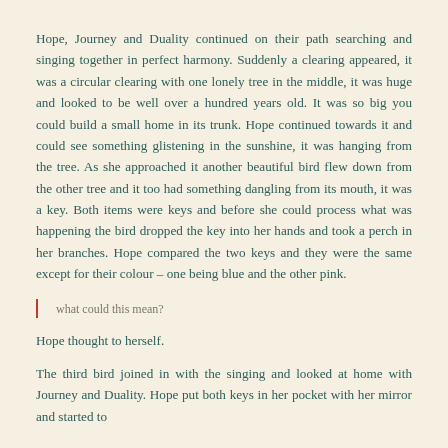Hope, Journey and Duality continued on their path searching and singing together in perfect harmony. Suddenly a clearing appeared, it was a circular clearing with one lonely tree in the middle, it was huge and looked to be well over a hundred years old. It was so big you could build a small home in its trunk. Hope continued towards it and could see something glistening in the sunshine, it was hanging from the tree. As she approached it another beautiful bird flew down from the other tree and it too had something dangling from its mouth, it was a key. Both items were keys and before she could process what was happening the bird dropped the key into her hands and took a perch in her branches. Hope compared the two keys and they were the same except for their colour – one being blue and the other pink.
what could this mean?
Hope thought to herself.
The third bird joined in with the singing and looked at home with Journey and Duality. Hope put both keys in her pocket with her mirror and started to